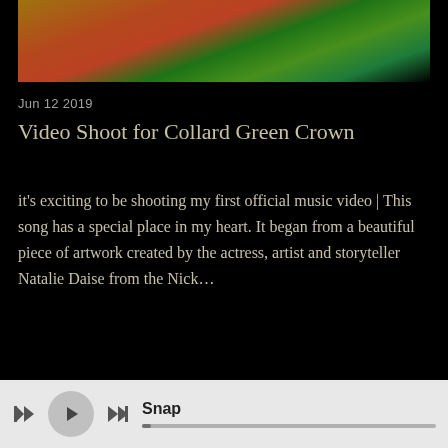[Figure (photo): Top portion of a photo showing people in colorful clothing in front of a green screen with a camera visible]
Jun 12 2019
Video Shoot for Collard Green Crown
it's exciting to be shooting my first official music video | This song has a special place in my heart. It began from a beautiful piece of artwork created by the actress, artist and storyteller Natalie Daise from the Nick…
Read more
[Figure (photo): Bottom partial photo showing dark curtains or draping with some light areas]
Snap